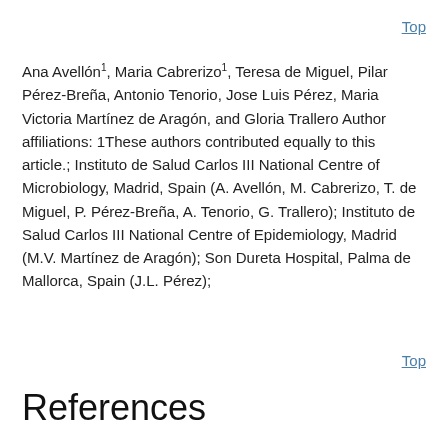Top
Ana Avellón¹, Maria Cabrerizo¹, Teresa de Miguel, Pilar Pérez-Breña, Antonio Tenorio, Jose Luis Pérez, Maria Victoria Martínez de Aragón, and Gloria Trallero Author affiliations: 1These authors contributed equally to this article.; Instituto de Salud Carlos III National Centre of Microbiology, Madrid, Spain (A. Avellón, M. Cabrerizo, T. de Miguel, P. Pérez-Breña, A. Tenorio, G. Trallero); Instituto de Salud Carlos III National Centre of Epidemiology, Madrid (M.V. Martínez de Aragón); Son Dureta Hospital, Palma de Mallorca, Spain (J.L. Pérez);
Top
References